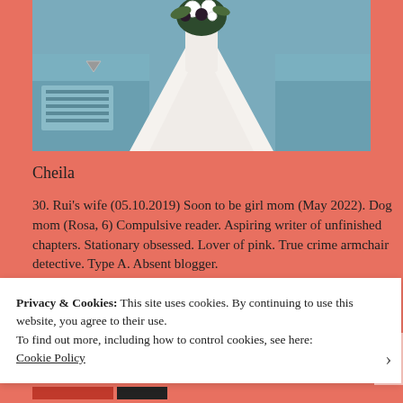[Figure (photo): A bride in a white lace wedding dress holding a bouquet of white and dark flowers, standing in front of a vintage blue car. Photo is cropped to show from waist down.]
Cheila
30. Rui's wife (05.10.2019) Soon to be girl mom (May 2022). Dog mom (Rosa, 6) Compulsive reader. Aspiring writer of unfinished chapters. Stationary obsessed. Lover of pink. True crime armchair detective. Type A. Absent blogger.
Privacy & Cookies: This site uses cookies. By continuing to use this website, you agree to their use.
To find out more, including how to control cookies, see here:
Cookie Policy
Close and accept